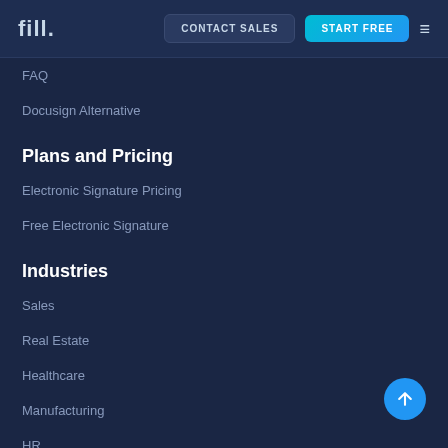fill. | CONTACT SALES | START FREE
FAQ
Docusign Alternative
Plans and Pricing
Electronic Signature Pricing
Free Electronic Signature
Industries
Sales
Real Estate
Healthcare
Manufacturing
HR